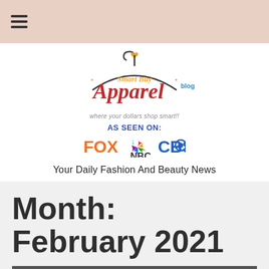≡ (hamburger menu icon)
[Figure (logo): Smart Buy Apparel blog logo — stylized text 'Smart Buy Apparel blog' in red/orange/gold with a hanger and heart icon, tagline 'where your dollars shop smart!!', followed by 'AS SEEN ON:' and FOX, NBC, CBS network logos]
Your Daily Fashion And Beauty News
Month: February 2021